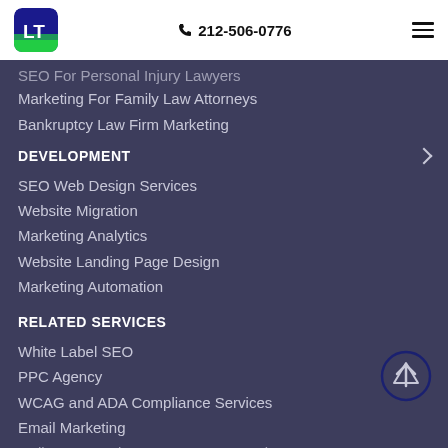[Figure (logo): LT logo — blue and green square with white LT letters]
📞 212-506-0776
[Figure (other): Hamburger menu icon (three horizontal lines)]
SEO For Personal Injury Lawyers (partially visible)
Marketing For Family Law Attorneys
Bankruptcy Law Firm Marketing
DEVELOPMENT
SEO Web Design Services
Website Migration
Marketing Analytics
Website Landing Page Design
Marketing Automation
RELATED SERVICES
White Label SEO
PPC Agency
WCAG and ADA Compliance Services
Email Marketing
Online Reputation Management Service (partially visible)